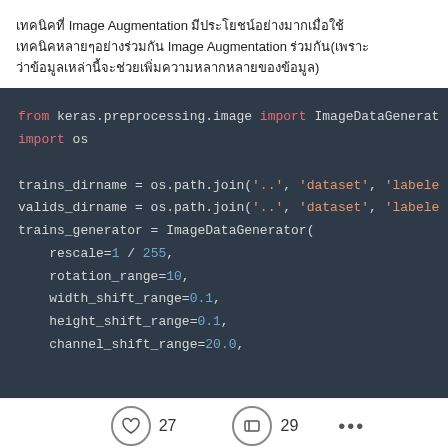เทคนิคที่ Image Augmentation มีประโยชน์อย่างมากเมื่อใช้ Image Augmentation ร่วมกัน(เพราะว่าข้อมูลเหล่านี้จะช่วยเพิ่มความหลากหลายของข้อมูล)
[Figure (screenshot): Python code block on dark background showing keras ImageDataGenerator import and configuration with augmentation parameters including rescale, rotation_range, width_shift_range, height_shift_range, channel_shift_range]
27  29  ...